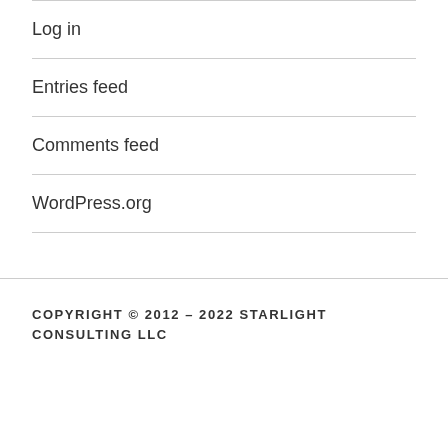Log in
Entries feed
Comments feed
WordPress.org
COPYRIGHT © 2012 – 2022 STARLIGHT CONSULTING LLC